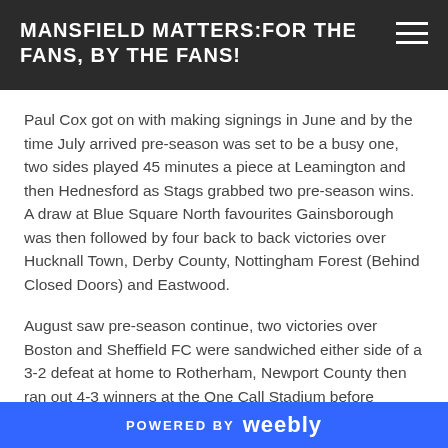MANSFIELD MATTERS:FOR THE FANS, BY THE FANS!
Paul Cox got on with making signings in June and by the time July arrived pre-season was set to be a busy one, two sides played 45 minutes a piece at Leamington and then Hednesford as Stags grabbed two pre-season wins. A draw at Blue Square North favourites Gainsborough was then followed by four back to back victories over Hucknall Town, Derby County, Nottingham Forest (Behind Closed Doors) and Eastwood.
August saw pre-season continue, two victories over Boston and Sheffield FC were sandwiched either side of a 3-2 defeat at home to Rotherham, Newport County then ran out 4-3 winners at the One Call Stadium before Gateshead thrashed Stags 4-1 at Gateshead as the 2012-13 season kick off in poor fashion. Mansfield then got back to winning ways as Lindon Meikle
POWERED BY weebly